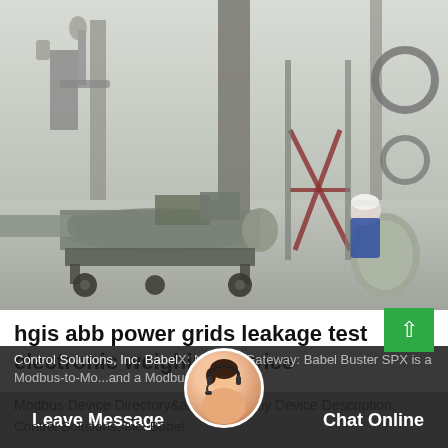[Figure (photo): Industrial electrical substation or HV equipment testing scene. Large cylindrical metal equipment on a wheeled cart/trolley in the foreground, tall metal columns and substation structures in the background, a worker wearing white hard hat and blue jacket visible on the right side.]
hgis abb power grids leakage test electronic weighing device
Modbus Device Directory&all=YCompany Device Description:
Control Solutions, Inc. BabelX: Network Gateway: Babel Buster SPX is a Modbus-to-Mo...and a Modbus-to-SNMP